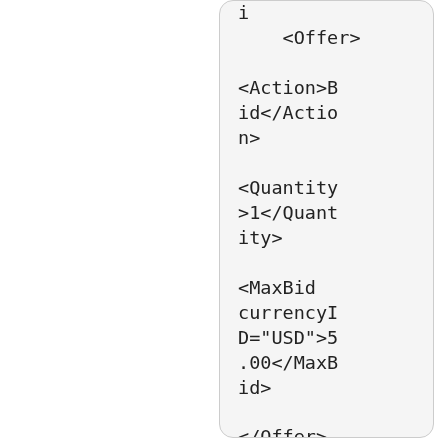i</ItemID>
    <Offer>

<Action>Bid</Action>

<Quantity>1</Quantity>

<MaxBid currencyID="USD">5.00</MaxBid>

</Offer>
</PlaceOfferRequest>